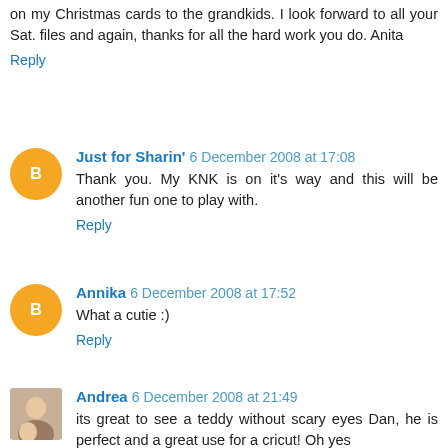on my Christmas cards to the grandkids. I look forward to all your Sat. files and again, thanks for all the hard work you do. Anita
Reply
Just for Sharin' 6 December 2008 at 17:08
Thank you. My KNK is on it's way and this will be another fun one to play with.
Reply
Annika 6 December 2008 at 17:52
What a cutie :)
Reply
Andrea 6 December 2008 at 21:49
its great to see a teddy without scary eyes Dan, he is perfect and a great use for a cricut! Oh yes